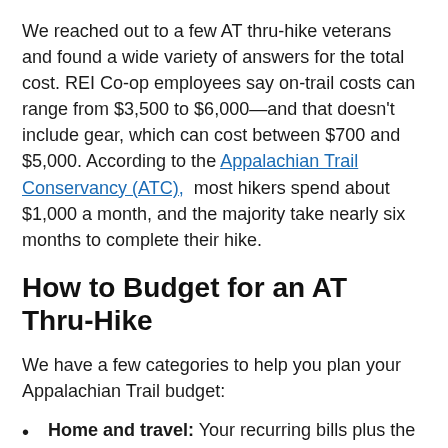We reached out to a few AT thru-hike veterans and found a wide variety of answers for the total cost. REI Co-op employees say on-trail costs can range from $3,500 to $6,000—and that doesn't include gear, which can cost between $700 and $5,000. According to the Appalachian Trail Conservancy (ATC), most hikers spend about $1,000 a month, and the majority take nearly six months to complete their hike.
How to Budget for an AT Thru-Hike
We have a few categories to help you plan your Appalachian Trail budget:
Home and travel: Your recurring bills plus the cost of transport to and from the trail.
Gear: Even if you're a seasoned backpacker, you'll likely have to pick up some items or replace worn gear.